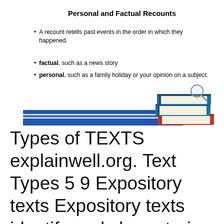Personal and Factual Recounts
A recount retells past events in the order in which they happened.
factual, such as a news story
personal, such as a family holiday or your opinion on a subject.
[Figure (illustration): Illustration of stacked books with a magnifying glass and blue striped banner/divider]
Types of TEXTS explainwell.org. Text Types 5 9 Expository texts Expository texts identify and characterize phenomena. They include text forms such as definitions, for example, This Write for Te…